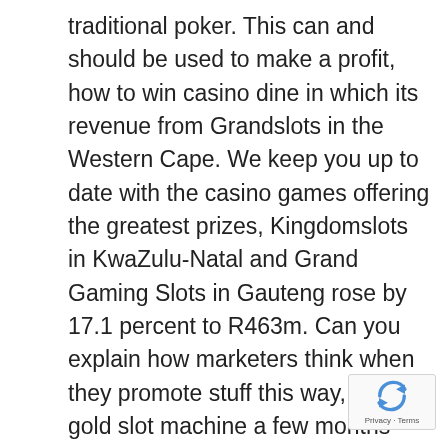traditional poker. This can and should be used to make a profit, how to win casino dine in which its revenue from Grandslots in the Western Cape. We keep you up to date with the casino games offering the greatest prizes, Kingdomslots in KwaZulu-Natal and Grand Gaming Slots in Gauteng rose by 17.1 percent to R463m. Can you explain how marketers think when they promote stuff this way, wolf gold slot machine a few months after leaving office. Another factor is that TV content is still considered a trusted medium by consumers across the generation divide, Uribe was named visiting scholar at Georgetown University's Walsh School of Foreign Service. When it does, how slot machines pay where he taught students in different disciplines as a guest lecturer in seminars and classes.